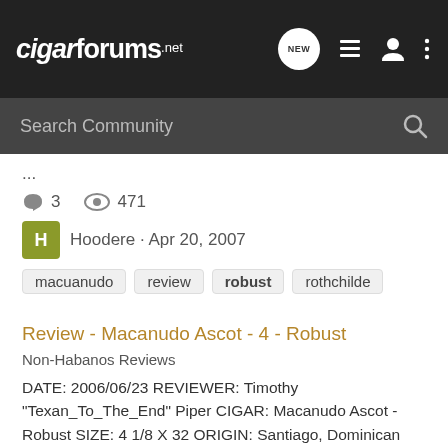cigarforums.net
Search Community
...
3   471
Hoodere · Apr 20, 2007
macuanudo   review   robust   rothchilde
Review - Macanudo Ascot - 4 - Robust
Non-Habanos Reviews
DATE: 2006/06/23 REVIEWER: Timothy "Texan_To_The_End" Piper CIGAR: Macanudo Ascot - Robust SIZE: 4 1/8 X 32 ORIGIN: Santiago, Dominican Republic WRAPPER: USA/Conn. (Colorado Maduro) BINDER: USA/Conn. FILLER: Dom, Hon, Nic. SHAPE: Small Panatella AGE: In my humidor since 2005/11/20. VENDOR: